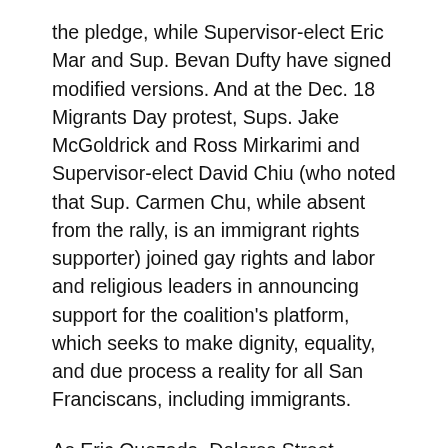the pledge, while Supervisor-elect Eric Mar and Sup. Bevan Dufty have signed modified versions. And at the Dec. 18 Migrants Day protest, Sups. Jake McGoldrick and Ross Mirkarimi and Supervisor-elect David Chiu (who noted that Sup. Carmen Chu, while absent from the rally, is an immigrant rights supporter) joined gay rights and labor and religious leaders in announcing support for the coalition's platform, which seeks to make dignity, equality, and due process a reality for all San Franciscans, including immigrants.
As Eric Quezada, Dolores Street Community Services executive director, told the crowd, "We're here to defend the fundamental human rights of all immigrants." *